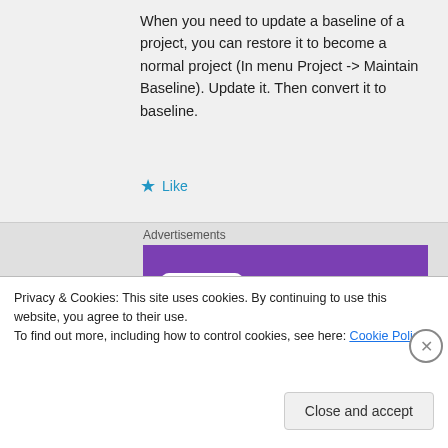When you need to update a baseline of a project, you can restore it to become a normal project (In menu Project -> Maintain Baseline). Update it. Then convert it to baseline.
★ Like
Advertisements
[Figure (illustration): WooCommerce advertisement banner showing the WooCommerce logo on a purple background with green and teal geometric shapes and text 'How to start selling']
Privacy & Cookies: This site uses cookies. By continuing to use this website, you agree to their use.
To find out more, including how to control cookies, see here: Cookie Policy